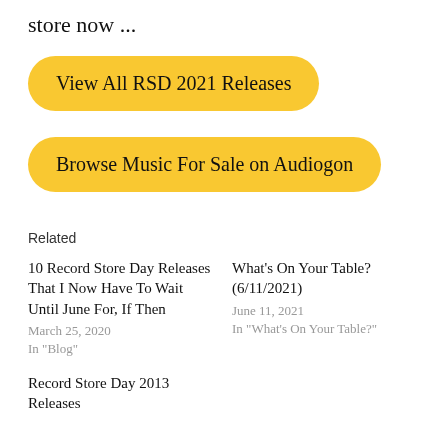store now ...
[Figure (other): Yellow rounded button: View All RSD 2021 Releases]
[Figure (other): Yellow rounded button: Browse Music For Sale on Audiogon]
Related
10 Record Store Day Releases That I Now Have To Wait Until June For, If Then
March 25, 2020
In "Blog"
What's On Your Table? (6/11/2021)
June 11, 2021
In "What's On Your Table?"
Record Store Day 2013 Releases